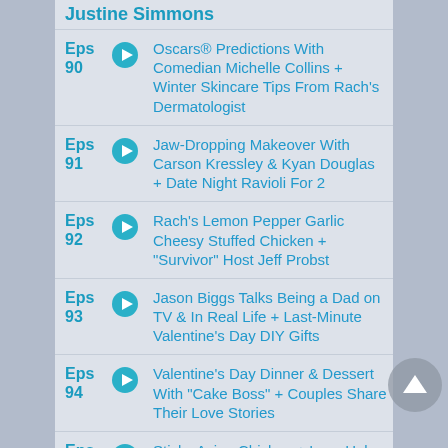Justine Simmons
Eps 90 — Oscars® Predictions With Comedian Michelle Collins + Winter Skincare Tips From Rach's Dermatologist
Eps 91 — Jaw-Dropping Makeover With Carson Kressley & Kyan Douglas + Date Night Ravioli For 2
Eps 92 — Rach's Lemon Pepper Garlic Cheesy Stuffed Chicken + "Survivor" Host Jeff Probst
Eps 93 — Jason Biggs Talks Being a Dad on TV & In Real Life + Last-Minute Valentine's Day DIY Gifts
Eps 94 — Valentine's Day Dinner & Dessert With "Cake Boss" + Couples Share Their Love Stories
Eps 95 — Sticky Asian Chicken + Lucy Hale On Her Obsession With Horror Movies
Eps — Lazy Winter Comfort Food: